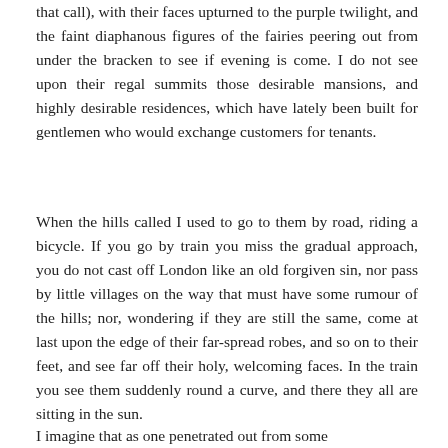that call), with their faces upturned to the purple twilight, and the faint diaphanous figures of the fairies peering out from under the bracken to see if evening is come. I do not see upon their regal summits those desirable mansions, and highly desirable residences, which have lately been built for gentlemen who would exchange customers for tenants.
When the hills called I used to go to them by road, riding a bicycle. If you go by train you miss the gradual approach, you do not cast off London like an old forgiven sin, nor pass by little villages on the way that must have some rumour of the hills; nor, wondering if they are still the same, come at last upon the edge of their far-spread robes, and so on to their feet, and see far off their holy, welcoming faces. In the train you see them suddenly round a curve, and there they all are sitting in the sun.
I imagine that as one penetrated out from some